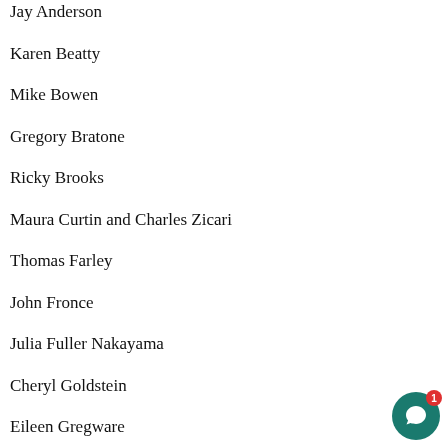Jay Anderson
Karen Beatty
Mike Bowen
Gregory Bratone
Ricky Brooks
Maura Curtin and Charles Zicari
Thomas Farley
John Fronce
Julia Fuller Nakayama
Cheryl Goldstein
Eileen Gregware
Peter Hoffman